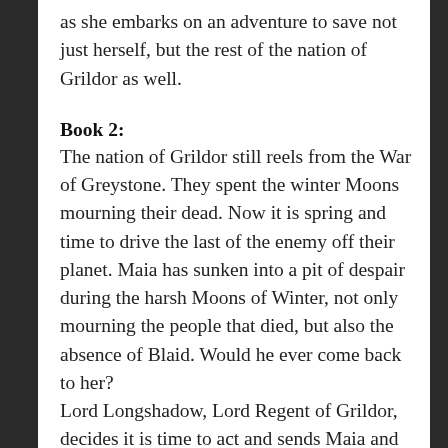as she embarks on an adventure to save not just herself, but the rest of the nation of Grildor as well.
Book 2:
The nation of Grildor still reels from the War of Greystone. They spent the winter Moons mourning their dead. Now it is spring and time to drive the last of the enemy off their planet. Maia has sunken into a pit of despair during the harsh Moons of Winter, not only mourning the people that died, but also the absence of Blaid. Would he ever come back to her?
Lord Longshadow, Lord Regent of Grildor, decides it is time to act and sends Maia and Jaik as ambassadors to the various cities within Grildor. The aim is to reassure the people that the